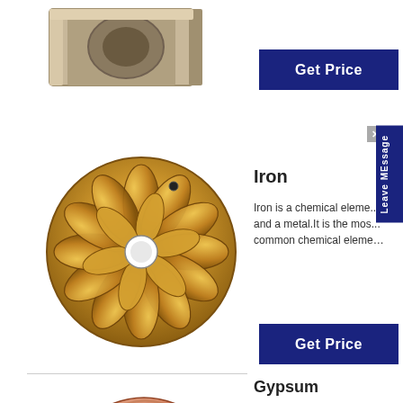[Figure (photo): Partial view of a metal box/duct component at the top of the page]
[Figure (photo): Decorative golden circular flower-petal shaped metal ornament with a central hole]
Iron
Iron is a chemical element and a metal.It is the most common chemical eleme…
Get Price
Get Price
Gypsum
Gypsum is a soft sulfate mineral composed of calcium sulfate dihydrate…
[Figure (photo): Curved copper/bronze strip or thin arc-shaped metal piece]
Get Price